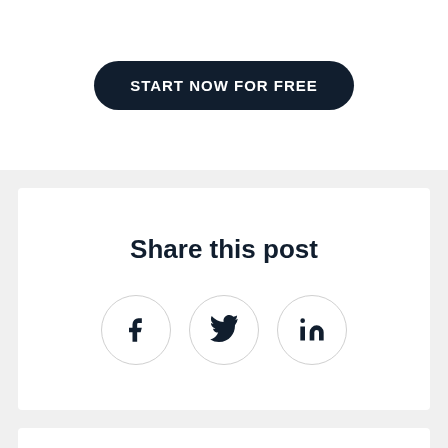START NOW FOR FREE
Share this post
[Figure (infographic): Three social media share icons in circles: Facebook (f), Twitter (bird), LinkedIn (in)]
Top Articles